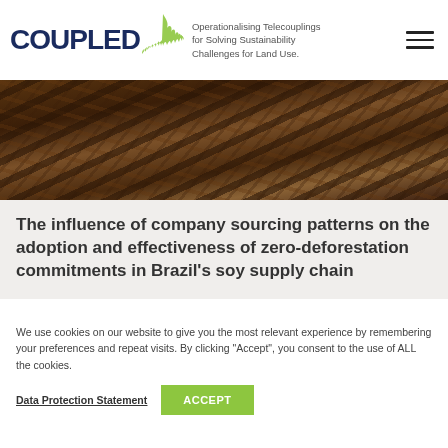COUPLED — Operationalising Telecouplings for Solving Sustainability Challenges for Land Use.
[Figure (photo): Aerial photograph of deforested land in Brazil showing eroded terrain with dark soil and brown ridges in a curved pattern, likely Amazon rainforest deforestation area.]
The influence of company sourcing patterns on the adoption and effectiveness of zero-deforestation commitments in Brazil's soy supply chain
We use cookies on our website to give you the most relevant experience by remembering your preferences and repeat visits. By clicking "Accept", you consent to the use of ALL the cookies.
Data Protection Statement
ACCEPT